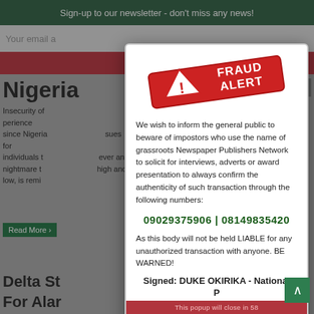Sign-up to our newsletter - don't miss any news!
[Figure (screenshot): Background webpage screenshot showing Nigeria news site with email signup, red bar, article titles including 'Nigeria' and 'Delta State...For Alar...' and a photo below]
[Figure (infographic): Fraud Alert popup modal with red FRAUD ALERT stamp image, warning text about impostors using 'grassroots Newspaper Publishers Network', contact numbers 09029375906 and 08149835420, warning about unauthorized transactions, signed by DUKE OKIRIKA - National President, with red close bar at bottom]
We wish to inform the general public to beware of impostors who use the name of grassroots Newspaper Publishers Network to solicit for interviews, adverts or award presentation to always confirm the authenticity of such transaction through the following numbers:
09029375906 | 08149835420
As this body will not be held LIABLE for any unauthorized transaction with anyone. BE WARNED!
Signed: DUKE OKIRIKA - National President